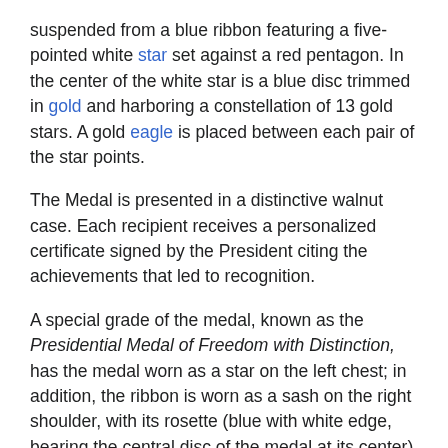suspended from a blue ribbon featuring a five-pointed white star set against a red pentagon. In the center of the white star is a blue disc trimmed in gold and harboring a constellation of 13 gold stars. A gold eagle is placed between each pair of the star points.
The Medal is presented in a distinctive walnut case. Each recipient receives a personalized certificate signed by the President citing the achievements that led to recognition.
A special grade of the medal, known as the Presidential Medal of Freedom with Distinction, has the medal worn as a star on the left chest; in addition, the ribbon is worn as a sash on the right shoulder, with its rosette (blue with white edge, bearing the central disc of the medal at its center) resting on the left hip.
The medal may also be worn on the ribbon on the left chest, with a silver American eagle with spread wings on